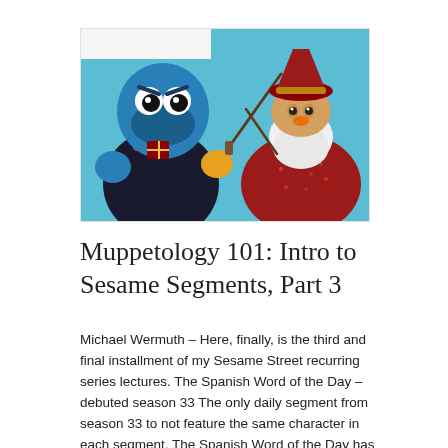[Figure (photo): Two Sesame Street Muppets dressed in costumes — Cookie Monster on the left wearing a Hogwarts-style robe and holding a wand, and another puppet on the right wearing a red glittery wizard robe and hat, both against a bright blue background.]
Muppetology 101: Intro to Sesame Segments, Part 3
Michael Wermuth – Here, finally, is the third and final installment of my Sesame Street recurring series lectures. The Spanish Word of the Day – debuted season 33 The only daily segment from season 33 to not feature the same character in each segment, The Spanish Word of the Day has characters telling us what the…